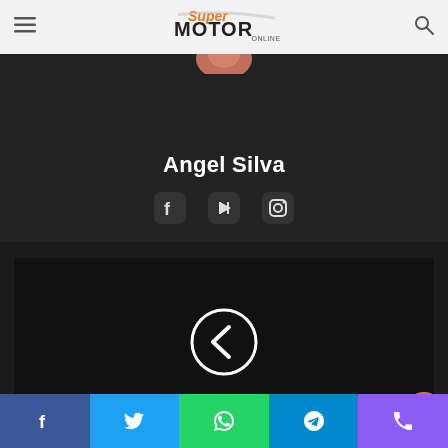SuperMotor Online
Angel Silva
[Figure (illustration): Social media icons: Facebook, YouTube, Instagram]
[Figure (illustration): Dark slider panel with a circular back/previous arrow button in the center]
[Figure (illustration): Bottom social sharing bar with Facebook, Twitter, WhatsApp, Telegram, and Phone buttons]